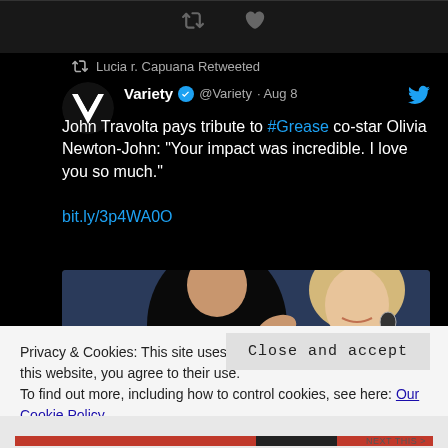[Figure (screenshot): Twitter/X dark interface showing a retweet by Lucia r. Capuana of a Variety tweet about John Travolta paying tribute to Olivia Newton-John with a photo of the two actors from Grease and an embedded Instagram comment overlay from johntravolta.]
Lucia r. Capuana Retweeted
Variety @Variety · Aug 8
John Travolta pays tribute to #Grease co-star Olivia Newton-John: "Your impact was incredible. I love you so much."
bit.ly/3p4WA0O
johntravolta My dearest Olivia, you made all of our lives so much better. Your impact was incredible. I love you so much.
Privacy & Cookies: This site uses cookies. By continuing to use this website, you agree to their use.
To find out more, including how to control cookies, see here: Our Cookie Policy
Close and accept